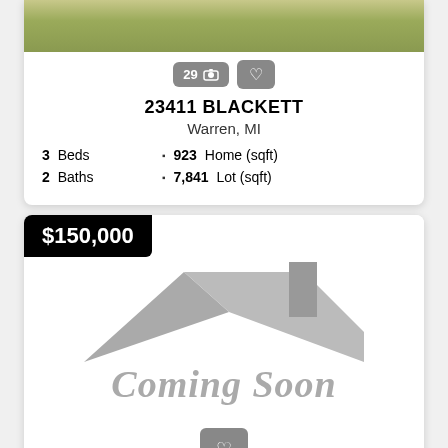[Figure (photo): Partial view of grass/lawn at top of page — top of first property listing card image]
29 📷 ♡
23411 BLACKETT
Warren, MI
3 Beds
923 Home (sqft)
2 Baths
7,841 Lot (sqft)
$150,000
[Figure (illustration): Coming Soon placeholder image with gray house rooftop silhouette icon and 'Coming Soon' text in gray italic]
♡
25021 PATRICIA
Warren, MI
3 Beds
1,194 Home (sqft)